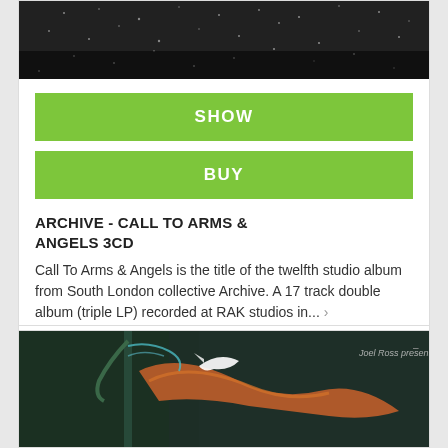[Figure (photo): Album cover art — dark/black textured background, top portion cropped]
SHOW
BUY
ARCHIVE - CALL TO ARMS & ANGELS 3CD
Call To Arms & Angels is the title of the twelfth studio album from South London collective Archive. A 17 track double album (triple LP) recorded at RAK studios in... ›
32,90 €
[Figure (photo): Colorful album artwork with birds and ribbon motif on dark background, text 'Joel Ross presents' in top right corner]